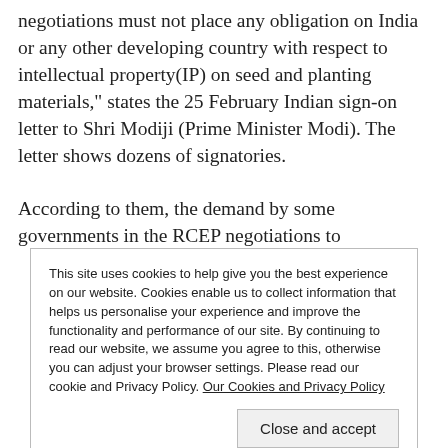negotiations must not place any obligation on India or any other developing country with respect to intellectual property(IP) on seed and planting materials," states the 25 February Indian sign-on letter to Shri Modiji (Prime Minister Modi). The letter shows dozens of signatories.
According to them, the demand by some governments in the RCEP negotiations to
This site uses cookies to help give you the best experience on our website. Cookies enable us to collect information that helps us personalise your experience and improve the functionality and performance of our site. By continuing to read our website, we assume you agree to this, otherwise you can adjust your browser settings. Please read our cookie and Privacy Policy. Our Cookies and Privacy Policy
Close and accept